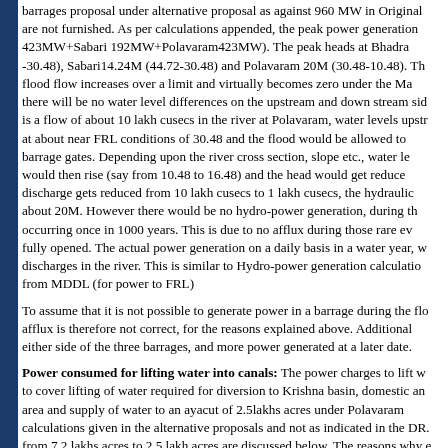barrages proposal under alternative proposal as against 960 MW in Original are not furnished. As per calculations appended, the peak power generation 423MW+Sabari 192MW+Polavaram423MW). The peak heads at Bhadra -30.48), Sabari14.24M (44.72-30.48) and Polavaram 20M (30.48-10.48). The flood flow increases over a limit and virtually becomes zero under the Ma there will be no water level differences on the upstream and down stream side is a flow of about 10 lakh cusecs in the river at Polavaram, water levels upstr at about near FRL conditions of 30.48 and the flood would be allowed to barrage gates. Depending upon the river cross section, slope etc., water le would then rise (say from 10.48 to 16.48) and the head would get reduce discharge gets reduced from 10 lakh cusecs to 1 lakh cusecs, the hydraulic about 20M. However there would be no hydro-power generation, during the occurring once in 1000 years. This is due to no afflux during those rare eve fully opened. The actual power generation on a daily basis in a water year, w discharges in the river. This is similar to Hydro-power generation calculation from MDDL (for power to FRL)
To assume that it is not possible to generate power in a barrage during the flo afflux is therefore not correct, for the reasons explained above. Additional either side of the three barrages, and more power generated at a later date.
Power consumed for lifting water into canals: The power charges to lift w to cover lifting of water required for diversion to Krishna basin, domestic an area and supply of water to an ayacut of 2.5lakhs acres under Polavaram calculations given in the alternative proposals and not as indicated in the DR. from 7.2 lakhs acres to 2.5 lakh acres are discussed below. The reasons why e liability on the project are also explained in these calculations (appendo additional quantities of water for Uttara Andhra Sujala Sravanthi or any othe